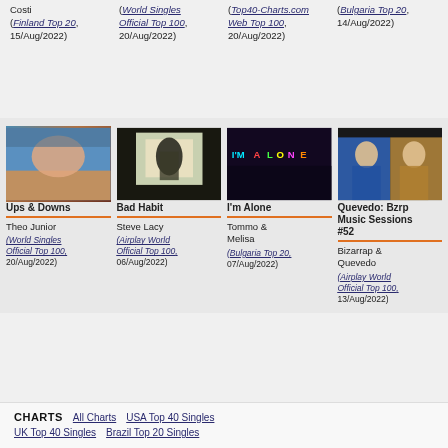Costi
(Finland Top 20, 15/Aug/2022)
(World Singles Official Top 100, 20/Aug/2022)
(Top40-Charts.com Web Top 100, 20/Aug/2022)
(Bulgaria Top 20, 14/Aug/2022)
[Figure (photo): Ups & Downs - Theo Junior album/single artwork showing a person at beach]
Ups & Downs
Theo Junior
(World Singles Official Top 100, 20/Aug/2022)
[Figure (photo): Bad Habit - Steve Lacy single artwork showing person in light jacket]
Bad Habit
Steve Lacy
(Airplay World Official Top 100, 06/Aug/2022)
[Figure (photo): I'm Alone - Tommo & Melisa single artwork with colorful text on dark background]
I'm Alone
Tommo & Melisa
(Bulgaria Top 20, 07/Aug/2022)
[Figure (photo): Quevedo: Bzrp Music Sessions #52 - Bizarrap & Quevedo artwork showing two people]
Quevedo: Bzrp Music Sessions #52
Bizarrap & Quevedo
(Airplay World Official Top 100, 13/Aug/2022)
CHARTS  All Charts  USA Top 40 Singles  UK Top 40 Singles  Brazil Top 20 Singles